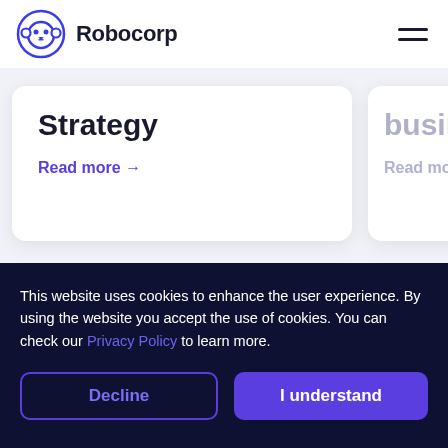Robocorp
Strategy
Read more →
busine
Read mor
This website uses cookies to enhance the user experience. By using the website you accept the use of cookies. You can check our Privacy Policy to learn more.
Decline
I understand